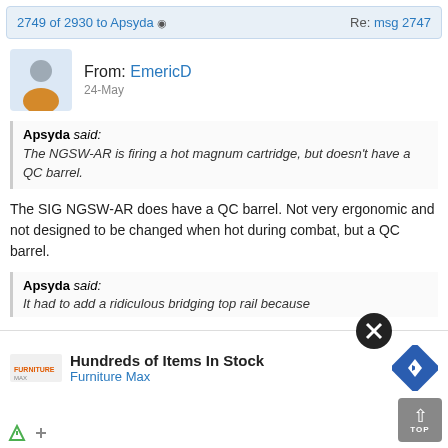2749 of 2930 to Apsyda ✔   Re: msg 2747
From: EmericD
24-May
Apsyda said:
The NGSW-AR is firing a hot magnum cartridge, but doesn't have a QC barrel.
The SIG NGSW-AR does have a QC barrel. Not very ergonomic and not designed to be changed when hot during combat, but a QC barrel.
Apsyda said:
It had to add a ridiculous bridging top rail because … and … re the NGSW-